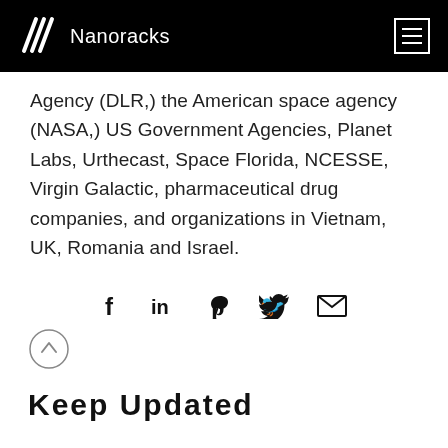Nanoracks
Agency (DLR,) the American space agency (NASA,) US Government Agencies, Planet Labs, Urthecast, Space Florida, NCESSE, Virgin Galactic, pharmaceutical drug companies, and organizations in Vietnam, UK, Romania and Israel.
[Figure (infographic): Social sharing icons: Facebook, LinkedIn, Pinterest, Twitter, Email]
[Figure (infographic): Back to top button - circle with upward chevron]
Keep Updated